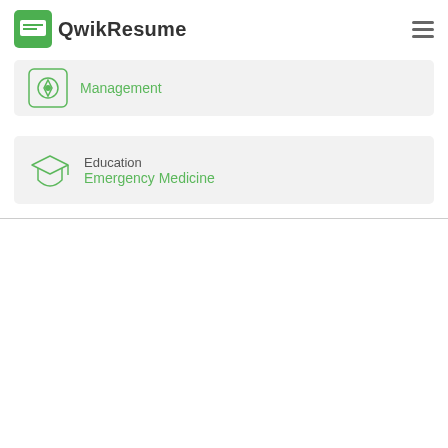[Figure (logo): QwikResume logo with green chat bubble icon and bold text 'QwikResume']
Management
Education
Emergency Medicine